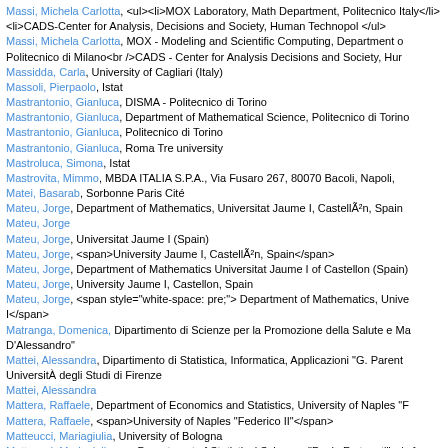Massi, Michela Carlotta, <ul><li>MOX Laboratory, Math Department, Politecnico Italy</li><li>CADS-Center for Analysis, Decisions and Society, Human Technopol</li></ul>
Massi, Michela Carlotta, MOX - Modeling and Scientific Computing, Department of Politecnico di Milano<br />CADS - Center for Analysis Decisions and Society, Hur
Massidda, Carla, University of Cagliari (Italy)
Massoli, Pierpaolo, Istat
Mastrantonio, Gianluca, DISMA - Politecnico di Torino
Mastrantonio, Gianluca, Department of Mathematical Science, Politecnico di Torino
Mastrantonio, Gianluca, Politecnico di Torino
Mastrantonio, Gianluca, Roma Tre university
Mastroluca, Simona, Istat
Mastrovita, Mimmo, MBDA ITALIA S.P.A., Via Fusaro 267, 80070 Bacoli, Napoli,
Matei, Basarab, Sorbonne Paris Cité
Mateu, Jorge, Department of Mathematics, Universitat Jaume I, Castellón, Spain
Mateu, Jorge
Mateu, Jorge, Universitat Jaume I (Spain)
Mateu, Jorge, <span>University Jaume I, Castellón, Spain</span>
Mateu, Jorge, Department of Mathematics Universitat Jaume I of Castellon (Spain)
Mateu, Jorge, University Jaume I, Castellon, Spain
Mateu, Jorge, <span style="white-space: pre;"> Department of Mathematics, Unive I</span>
Matranga, Domenica, Dipartimento di Scienze per la Promozione della Salute e Ma D'Alessandro"
Mattei, Alessandra, Dipartimento di Statistica, Informatica, Applicazioni "G. Parent Università degli Studi di Firenze
Mattei, Alessandra
Mattera, Raffaele, Department of Economics and Statistics, University of Naples "F
Mattera, Raffaele, <span>University of Naples "Federico II"</span>
Matteucci, Mariagiulia, University of Bologna
Matteucci, Mariagiulia, <p>Department of Statistical Sciences "Paolo Fortunati",</ of Bologna,</p><p>via delle Belle Arti n.41, Bologna. Italy.</p>
Maturo, Fabrizio, University of Campania
Maturo, Fabrizio, Università G. d'Annunzio di Chieti-Pescara
Mauro, Vincenzo, Dipartimento di Economia e Management, Università di Pisa
May, Caterina, Università del Piemonte Orientale
Mazumdar, Madhu, Icahn School of Medicine at Mount Sinai
Mazza, Angelo, University of Catania, Department of Economics and Business